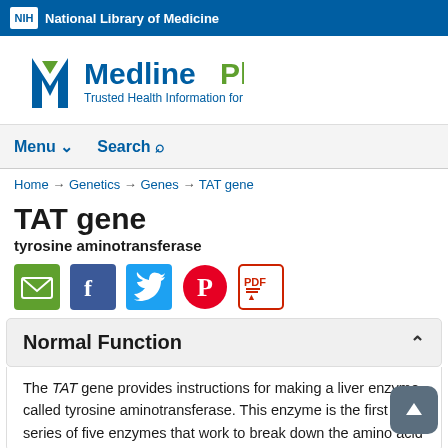NIH National Library of Medicine
[Figure (logo): MedlinePlus logo with tagline 'Trusted Health Information for You']
Menu  Search
Home → Genetics → Genes → TAT gene
TAT gene
tyrosine aminotransferase
[Figure (infographic): Social sharing icons: Email, Facebook, Twitter, Pinterest, PDF]
Normal Function
The TAT gene provides instructions for making a liver enzyme called tyrosine aminotransferase. This enzyme is the first in a series of five enzymes that work to break down the amino acid